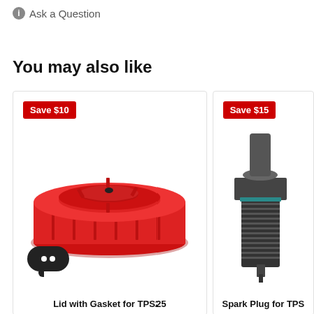Ask a Question
You may also like
[Figure (photo): Red plastic lid with gasket for TPS25, viewed from above/side angle, circular shape with ribbed edges and center cap. Save $10 badge in red. Product card with white background.]
Lid with Gasket for TPS25
[Figure (photo): Spark plug partially shown, metal threaded body with black ceramic insulator visible, cropped. Save $15 badge in red. Product card with white background.]
Spark Plug for TPS